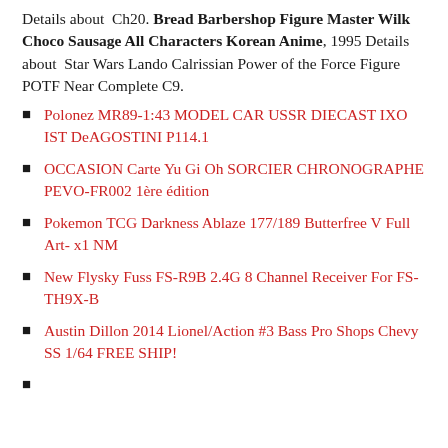Details about Ch20. Bread Barbershop Figure Master Wilk Choco Sausage All Characters Korean Anime, 1995 Details about Star Wars Lando Calrissian Power of the Force Figure POTF Near Complete C9.
Polonez MR89-1:43 MODEL CAR USSR DIECAST IXO IST DeAGOSTINI P114.1
OCCASION Carte Yu Gi Oh SORCIER CHRONOGRAPHE PEVO-FR002 1ère édition
Pokemon TCG Darkness Ablaze 177/189 Butterfree V Full Art- x1 NM
New Flysky Fuss FS-R9B 2.4G 8 Channel Receiver For FS-TH9X-B
Austin Dillon 2014 Lionel/Action #3 Bass Pro Shops Chevy SS 1/64 FREE SHIP!